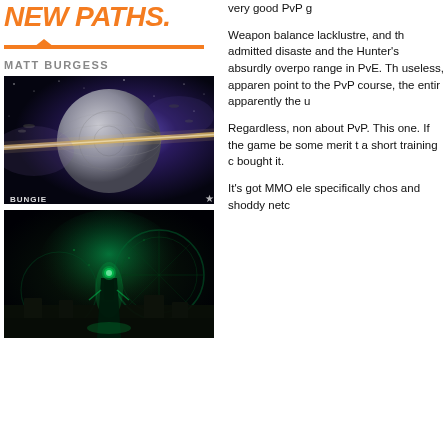NEW PATHS.
MATT BURGESS
[Figure (photo): Space scene with a large planet or structure being pierced by a beam of light, with spaceships in the background. BUNGIE logo bottom left, Destiny logo bottom right.]
[Figure (photo): Dark atmospheric scene with a glowing green figure/entity standing in a ruined environment with mechanical circular structures in the background.]
very good PvP g

Weapon balance lacklustre, and th admitted disaste and the Hunter's absurdly overpo range in PvE. Th useless, apparen point to the PvP course, the entir apparently the u

Regardless, non about PvP. This one. If the game be some merit t a short training c bought it.

It's got MMO ele specifically chos and shoddy netc